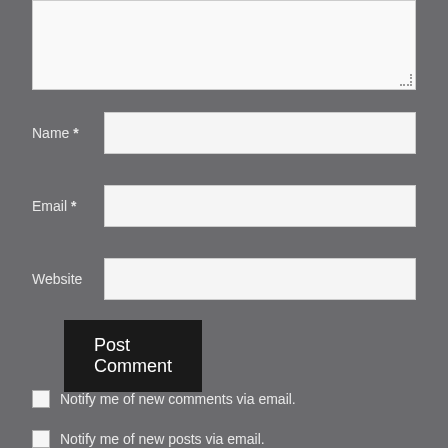[Figure (screenshot): A comment form textarea (large text input box) partially visible at the top of the page, with a resize handle in the bottom-right corner.]
Name *
[Figure (screenshot): Name input field (text box)]
Email *
[Figure (screenshot): Email input field (text box)]
Website
[Figure (screenshot): Website input field (text box)]
Post Comment
Notify me of new comments via email.
Notify me of new posts via email.